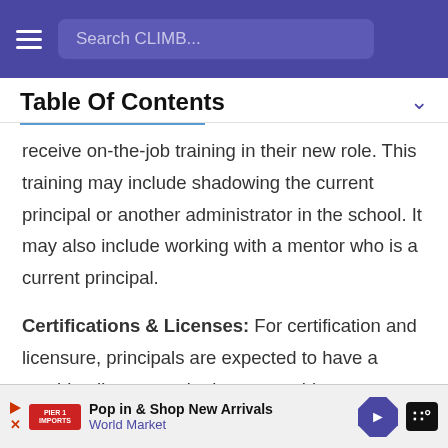Search CLIMB...
Table Of Contents
receive on-the-job training in their new role. This training may include shadowing the current principal or another administrator in the school. It may also include working with a mentor who is a current principal.
Certifications & Licenses: For certification and licensure, principals are expected to have a teaching license and relevant teaching experience. There may also be certifications for general administrative capacity as well as specific administrative...
Pop in & Shop New Arrivals World Market